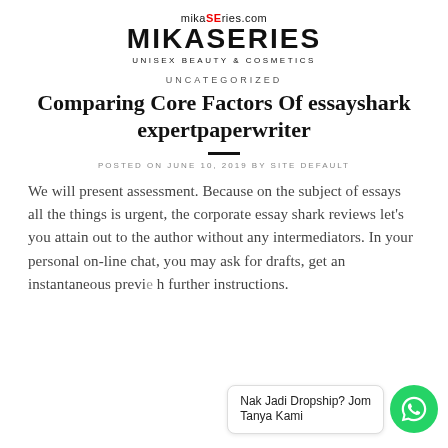[Figure (logo): MikaSeries.com logo with site name MIKASERIES and tagline UNISEX BEAUTY & COSMETICS]
UNCATEGORIZED
Comparing Core Factors Of essayshark expertpaperwriter
POSTED ON JUNE 10, 2019 BY SITE DEFAULT
We will present assessment. Because on the subject of essays all the things is urgent, the corporate essay shark reviews let's you attain out to the author without any intermediators. In your personal on-line chat, you may ask for drafts, get an instantaneous previ... h further instructions.
[Figure (other): WhatsApp chat widget with bubble text 'Nak Jadi Dropship? Jom Tanya Kami' and green WhatsApp icon circle]